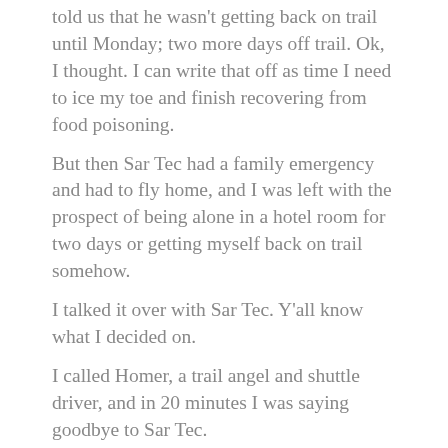told us that he wasn't getting back on trail until Monday; two more days off trail. Ok, I thought. I can write that off as time I need to ice my toe and finish recovering from food poisoning.
But then Sar Tec had a family emergency and had to fly home, and I was left with the prospect of being alone in a hotel room for two days or getting myself back on trail somehow.
I talked it over with Sar Tec. Y'all know what I decided on.
I called Homer, a trail angel and shuttle driver, and in 20 minutes I was saying goodbye to Sar Tec.
The climb up the priest was steep but well-switchbacked. It's a definite 4 miles to the top